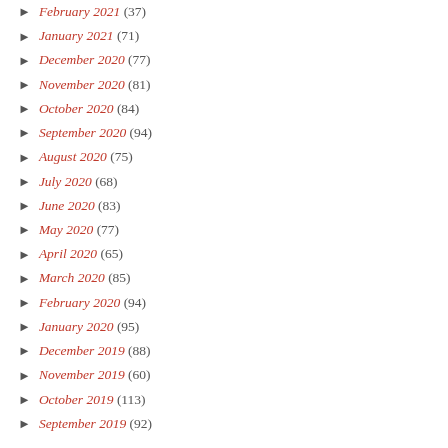February 2021 (37)
January 2021 (71)
December 2020 (77)
November 2020 (81)
October 2020 (84)
September 2020 (94)
August 2020 (75)
July 2020 (68)
June 2020 (83)
May 2020 (77)
April 2020 (65)
March 2020 (85)
February 2020 (94)
January 2020 (95)
December 2019 (88)
November 2019 (60)
October 2019 (113)
September 2019 (92)